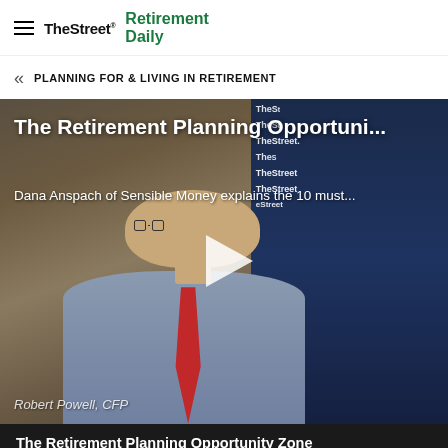TheStreet | Retirement Daily
PLANNING FOR & LIVING IN RETIREMENT
[Figure (screenshot): Video thumbnail showing Robert Powell, CFP, seated in an office/studio setting. The video title reads 'The Retirement Planning Opportuni...' and subtitle 'Dana Anspach of Sensible Money explains the 10 must...' with a play button in the center and TheStreet branding on the right background banner.]
The Retirement Planning Opportunity Zone